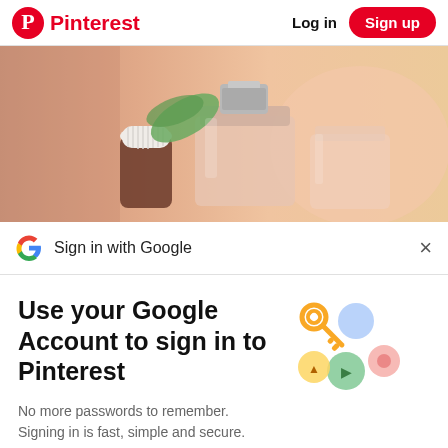Pinterest  Log in  Sign up
[Figure (photo): Close-up photo of perfume bottles and essential oil bottles with a warm peach/orange background and green leaves]
Sign in with Google
Use your Google Account to sign in to Pinterest
No more passwords to remember. Signing in is fast, simple and secure.
[Figure (illustration): Google account key illustration with colorful circles and a golden key]
Continue